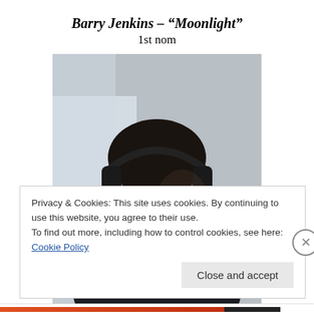Barry Jenkins – "Moonlight"
1st nom
[Figure (photo): Photo of a man wearing headphones and a dark jacket, looking to the side, likely Barry Jenkins on a film set.]
Privacy & Cookies: This site uses cookies. By continuing to use this website, you agree to their use.
To find out more, including how to control cookies, see here: Cookie Policy
Close and accept